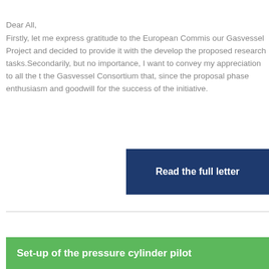Dear All,
Firstly, let me express gratitude to the European Commission for our Gasvessel Project and decided to provide it with the develop the proposed research tasks.Secondarily, but no importance, I want to convey my appreciation to all the the Gasvessel Consortium that, since the proposal phase enthusiasm and goodwill for the success of the initiative.
Read the full letter
Set-up of the pressure cylinder pilot